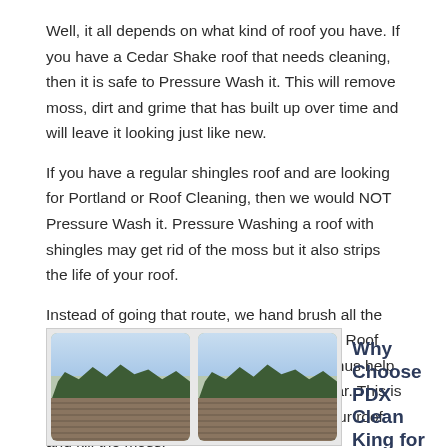Well, it all depends on what kind of roof you have. If you have a Cedar Shake roof that needs cleaning, then it is safe to Pressure Wash it. This will remove moss, dirt and grime that has built up over time and will leave it looking just like new.
If you have a regular shingles roof and are looking for Portland or Roof Cleaning, then we would NOT Pressure Wash it. Pressure Washing a roof with shingles may get rid of the moss but it also strips the life of your roof.
Instead of going that route, we hand brush all the moss off your roof and then apply a special Roof Treatment to kill the moss at the root and thus help prevent it from growing back for up to a year. This is the best and safest method for cleaning your roof and kill the moss.
[Figure (photo): Two side-by-side photos showing rooftops with trees and sky in the background, displayed in a bordered box]
Why Choose PDX Clean King for